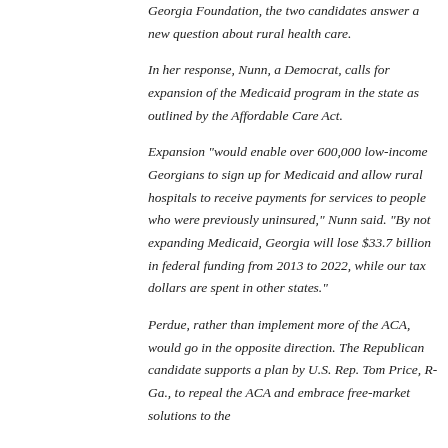Georgia Foundation, the two candidates answer a new question about rural health care.
In her response, Nunn, a Democrat, calls for expansion of the Medicaid program in the state as outlined by the Affordable Care Act.
Expansion "would enable over 600,000 low-income Georgians to sign up for Medicaid and allow rural hospitals to receive payments for services to people who were previously uninsured," Nunn said. "By not expanding Medicaid, Georgia will lose $33.7 billion in federal funding from 2013 to 2022, while our tax dollars are spent in other states."
Perdue, rather than implement more of the ACA, would go in the opposite direction. The Republican candidate supports a plan by U.S. Rep. Tom Price, R-Ga., to repeal the ACA and embrace free-market solutions to the